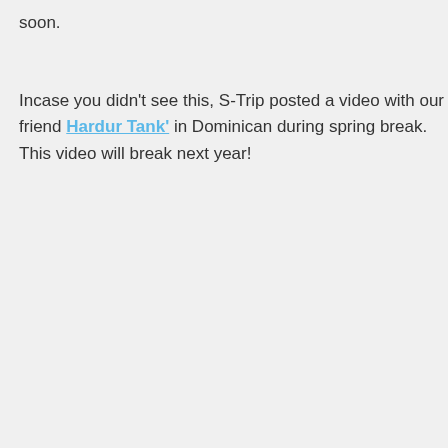soon.
Incase you didn't see this, S-Trip posted a video with our friend 'Hardur Tank' in Dominican during spring break. This video will break next year!